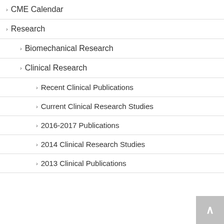CME Calendar
Research
Biomechanical Research
Clinical Research
Recent Clinical Publications
Current Clinical Research Studies
2016-2017 Publications
2014 Clinical Research Studies
2013 Clinical Publications